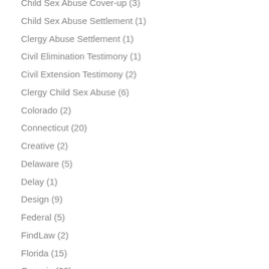Child Sex Abuse Cover-up (3)
Child Sex Abuse Settlement (1)
Clergy Abuse Settlement (1)
Civil Elimination Testimony (1)
Civil Extension Testimony (2)
Clergy Child Sex Abuse (6)
Colorado (2)
Connecticut (20)
Creative (2)
Delaware (5)
Delay (1)
Design (9)
Federal (5)
FindLaw (2)
Florida (15)
Georgia (28)